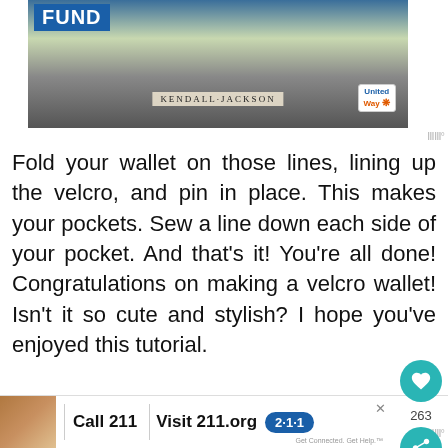[Figure (photo): Advertisement banner showing food/store imagery with FUND label, Kendall-Jackson wine logo, and United Way logo]
Fold your wallet on those lines, lining up the velcro, and pin in place. This makes your pockets.  Sew a line down each side of your pocket.  And that's it! You're all done!  Congratulations on making a velcro wallet! Isn't it so cute and stylish?  I hope you've enjoyed this tutorial.
[Figure (photo): Bottom photo showing teal/turquoise patterned fabric (wallet tutorial step) on dark background]
[Figure (photo): Bottom advertisement bar with child photo, Call 211, Visit 211.org, and 2-1-1 badge logo]